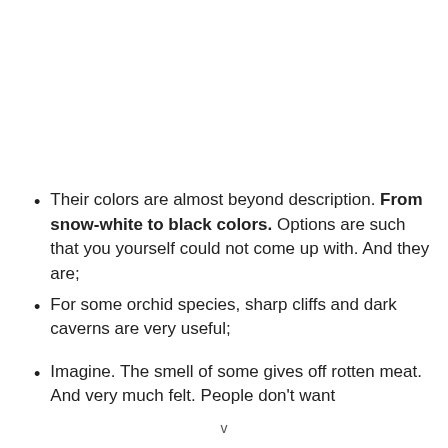Their colors are almost beyond description. From snow-white to black colors. Options are such that you yourself could not come up with. And they are;
For some orchid species, sharp cliffs and dark caverns are very useful;
Imagine. The smell of some gives off rotten meat. And very much felt. People don't want
v